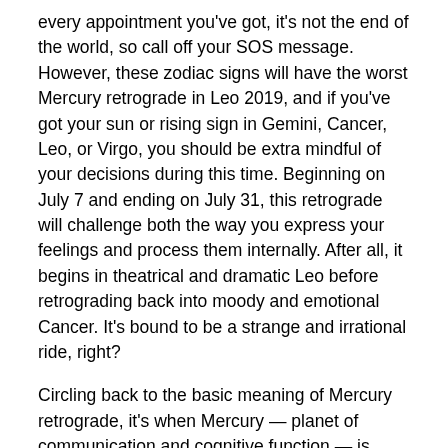every appointment you've got, it's not the end of the world, so call off your SOS message. However, these zodiac signs will have the worst Mercury retrograde in Leo 2019, and if you've got your sun or rising sign in Gemini, Cancer, Leo, or Virgo, you should be extra mindful of your decisions during this time. Beginning on July 7 and ending on July 31, this retrograde will challenge both the way you express your feelings and process them internally. After all, it begins in theatrical and dramatic Leo before retrograding back into moody and emotional Cancer. It's bound to be a strange and irrational ride, right?
Circling back to the basic meaning of Mercury retrograde, it's when Mercury — planet of communication and cognitive function — is working a little out of order. However, this also means Mercury's energy is channeled inwardly rather than outwardly, which is why Mercury retrograde is a great time for review and reflection and a not-so-great time for making huge commitments or